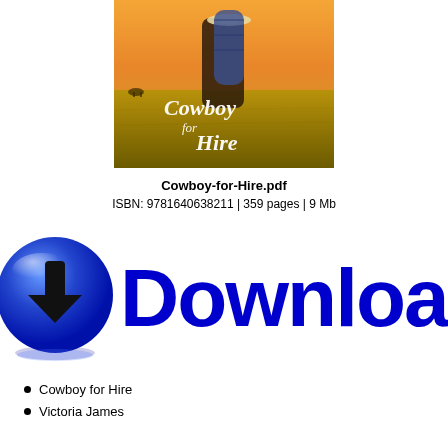[Figure (illustration): Book cover for 'Cowboy for Hire' showing a couple embracing in a golden field with cattle in background, cursive title text overlay]
Cowboy-for-Hire.pdf
ISBN: 9781640638211 | 359 pages | 9 Mb
[Figure (illustration): Blue glossy download button icon with downward arrow, followed by large bold blue 'Download' text with reflection effect]
Cowboy for Hire
Victoria James